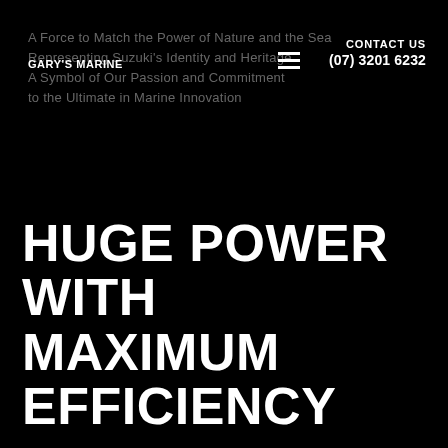A Force to Match the Power of Nature and the Sea
Representing Suzuki's Identity and Heritage
A Symbol of Our Passion and Commitment
to the Ultimate in Marine Innovation
GARY'S MARINE
CONTACT US
(07) 3201 6232
HUGE POWER WITH MAXIMUM EFFICIENCY